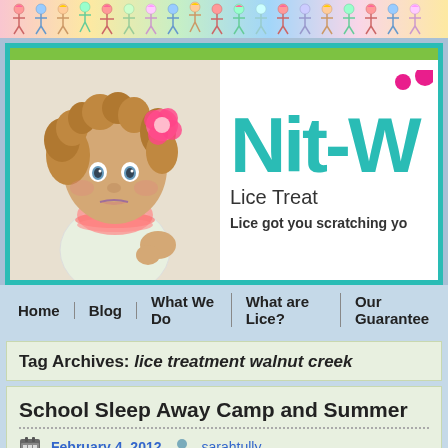[Figure (illustration): Cartoon-style colorful children figures banner at top of page]
[Figure (photo): Logo header for Nit-W (Nit-Wits) Lice Treatment featuring a photo of a curly-haired toddler girl with a pink flower in her hair, and the text 'Nit-W' in teal, 'Lice Treat...' and tagline 'Lice got you scratching yo...']
Home | Blog | What We Do | What are Lice? | Our Guarantee
Tag Archives: lice treatment walnut creek
School Sleep Away Camp and Summer
February 4, 2012  sarahtully
My son came home the other day with a letter from his elemen...